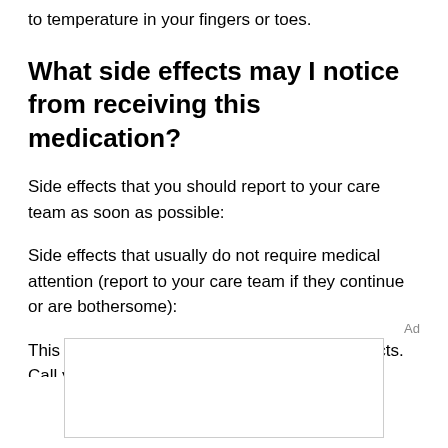to temperature in your fingers or toes.
What side effects may I notice from receiving this medication?
Side effects that you should report to your care team as soon as possible:
Side effects that usually do not require medical attention (report to your care team if they continue or are bothersome):
This list may not describe all possible side effects. Call your doctor for medical advice
Ad
[Figure (other): Empty advertisement box]